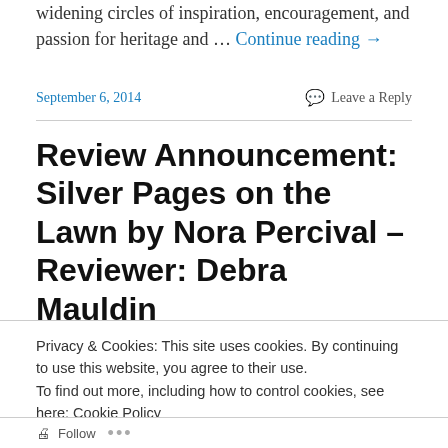widening circles of inspiration, encouragement, and passion for heritage and … Continue reading →
September 6, 2014
Leave a Reply
Review Announcement: Silver Pages on the Lawn by Nora Percival – Reviewer: Debra Mauldin
Silver Pages on the Lawn ...
Privacy & Cookies: This site uses cookies. By continuing to use this website, you agree to their use.
To find out more, including how to control cookies, see here: Cookie Policy
Close and accept
Follow